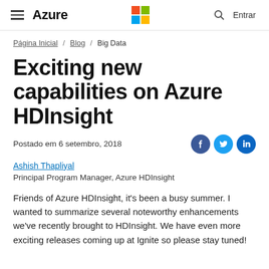Azure — Microsoft
Página Inicial / Blog / Big Data
Exciting new capabilities on Azure HDInsight
Postado em 6 setembro, 2018
Ashish Thapliyal
Principal Program Manager, Azure HDInsight
Friends of Azure HDInsight, it's been a busy summer. I wanted to summarize several noteworthy enhancements we've recently brought to HDInsight. We have even more exciting releases coming up at Ignite so please stay tuned!